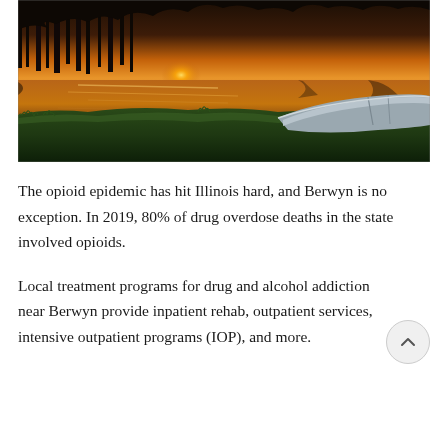[Figure (photo): A scenic sunset photograph showing a calm lake or river with orange and golden reflections in the water, dark silhouetted trees in the background, green grass on the bank, and an overturned silver/grey canoe or kayak in the foreground on the right side.]
The opioid epidemic has hit Illinois hard, and Berwyn is no exception. In 2019, 80% of drug overdose deaths in the state involved opioids.
Local treatment programs for drug and alcohol addiction near Berwyn provide inpatient rehab, outpatient services, intensive outpatient programs (IOP), and more.